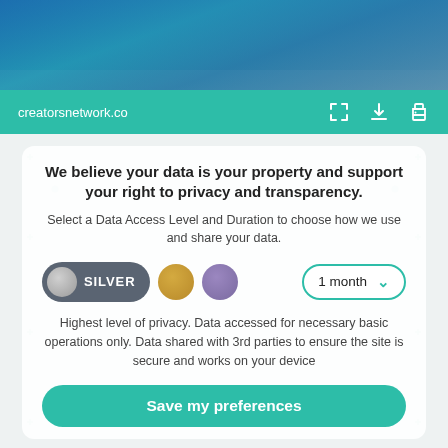[Figure (photo): Top section showing a photo of people in blue tones, partially visible]
creatorsnetwork.co
We believe your data is your property and support your right to privacy and transparency.
Select a Data Access Level and Duration to choose how we use and share your data.
[Figure (infographic): Silver pill toggle selected, gold circle, purple circle, and 1 month dropdown]
Highest level of privacy. Data accessed for necessary basic operations only. Data shared with 3rd parties to ensure the site is secure and works on your device
[Figure (infographic): Save my preferences green button]
Customize   Privacy policy | Do Not Sell